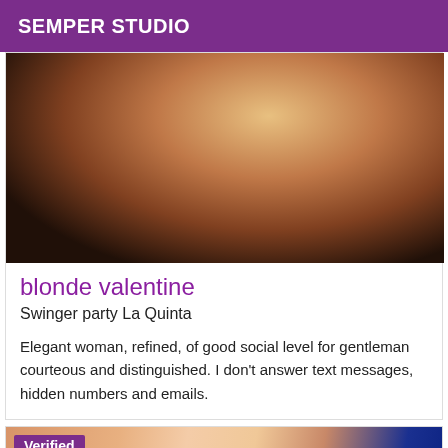SEMPER STUDIO
[Figure (photo): Close-up photo of a blonde woman's neck and shoulder from behind, wearing a black top, warm skin tones]
blonde valentine
Swinger party La Quinta
Elegant woman, refined, of good social level for gentleman courteous and distinguished. I don't answer text messages, hidden numbers and emails.
[Figure (photo): Close-up photo of a woman's torso/midsection with blue clothing visible, with a 'Verified' badge overlay]